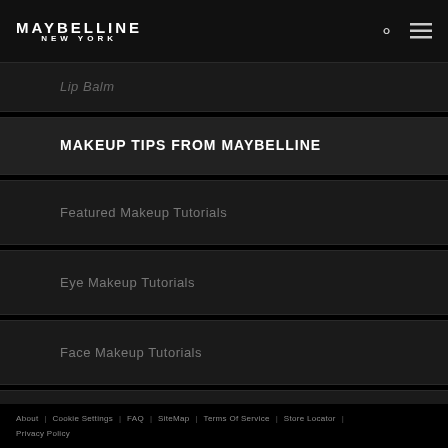MAYBELLINE NEW YORK
Lip Balm
MAKEUP TIPS FROM MAYBELLINE
Featured Makeup Tutorials
Eye Makeup Tutorials
Face Makeup Tutorials
Lip Makeup Tutorials
About | Cookie Settings | FAQ | SiteMap | Terms Of Service | Store Locator | Privacy Policy